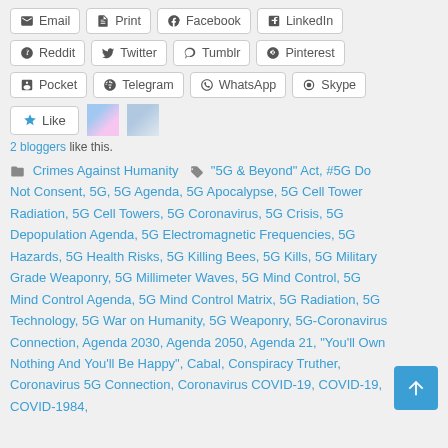[Figure (screenshot): Social sharing buttons row 1: Email, Print, Facebook, LinkedIn]
[Figure (screenshot): Social sharing buttons row 2: Reddit, Twitter, Tumblr, Pinterest]
[Figure (screenshot): Social sharing buttons row 3: Pocket, Telegram, WhatsApp, Skype]
[Figure (screenshot): Like button with two blogger avatars]
2 bloggers like this.
Crimes Against Humanity  "5G & Beyond" Act, #5G Do Not Consent, 5G, 5G Agenda, 5G Apocalypse, 5G Cell Tower Radiation, 5G Cell Towers, 5G Coronavirus, 5G Crisis, 5G Depopulation Agenda, 5G Electromagnetic Frequencies, 5G Hazards, 5G Health Risks, 5G Killing Bees, 5G Kills, 5G Military Grade Weaponry, 5G Millimeter Waves, 5G Mind Control, 5G Mind Control Agenda, 5G Mind Control Matrix, 5G Radiation, 5G Technology, 5G War on Humanity, 5G Weaponry, 5G-Coronavirus Connection, Agenda 2030, Agenda 2050, Agenda 21, “You’ll Own Nothing And You’ll Be Happy”, Cabal, Conspiracy Truther, Coronavirus 5G Connection, Coronavirus COVID-19, COVID-19, COVID-1984,